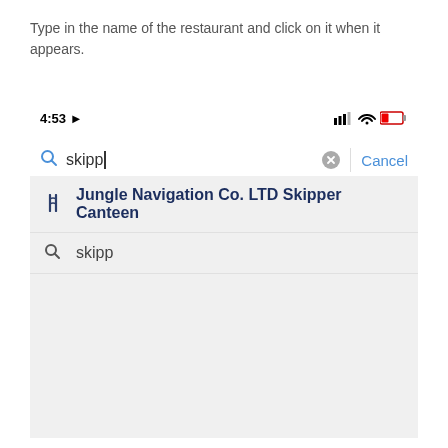Type in the name of the restaurant and click on it when it appears.
[Figure (screenshot): Mobile phone screenshot showing a search interface. Status bar shows 4:53 with signal, wifi, and battery icons. A search bar contains the text 'skipp' with a cursor, a clear button, and a Cancel option. Below are two search results: a restaurant icon with 'Jungle Navigation Co. LTD Skipper Canteen' and a search icon with 'skipp'. The results area has a light gray background.]